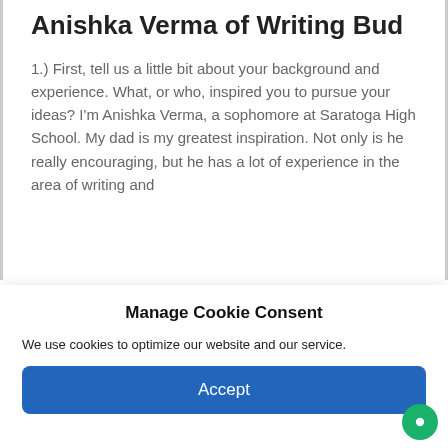Anishka Verma of Writing Bud
1.) First, tell us a little bit about your background and experience. What, or who, inspired you to pursue your ideas? I'm Anishka Verma, a sophomore at Saratoga High School. My dad is my greatest inspiration. Not only is he really encouraging, but he has a lot of experience in the area of writing and
Manage Cookie Consent
We use cookies to optimize our website and our service.
Accept